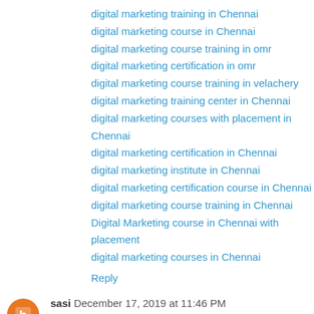digital marketing training in Chennai
digital marketing course in Chennai
digital marketing course training in omr
digital marketing certification in omr
digital marketing course training in velachery
digital marketing training center in Chennai
digital marketing courses with placement in Chennai
digital marketing certification in Chennai
digital marketing institute in Chennai
digital marketing certification course in Chennai
digital marketing course training in Chennai
Digital Marketing course in Chennai with placement
digital marketing courses in Chennai
Reply
sasi December 17, 2019 at 11:46 PM
The blog you shared is very good. I expect more information from you like this blog. Thankyou.
Web Designing Course in chennai
Web Designing Course in bangalore